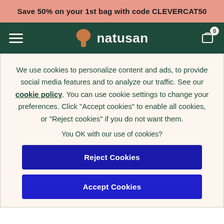Save 50% on your 1st bag with code CLEVERCAT50
[Figure (logo): Natusan logo with tree icon on dark green navigation bar]
We use cookies to personalize content and ads, to provide social media features and to analyze our traffic. See our cookie policy. You can use cookie settings to change your preferences. Click "Accept cookies" to enable all cookies, or "Reject cookies" if you do not want them.
You OK with our use of cookies?
Reject Cookies
Accept Cookies